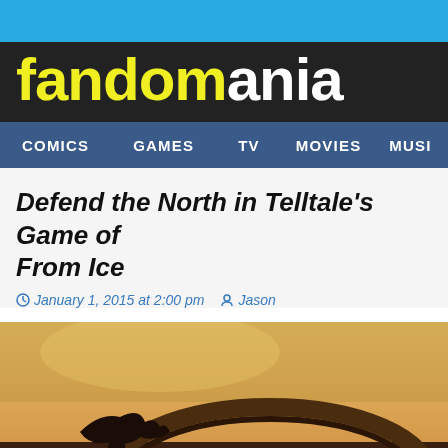fandomania
COMICS   GAMES   TV   MOVIES   MUSI
Defend the North in Telltale's Game of Thrones: Iron From Ice
January 1, 2015 at 2:00 pm   Jason
[Figure (photo): Dark bronze/metal carved sculpture featuring a dragon or serpent-like creature head, part of a Game of Thrones themed image with warm golden sky background]